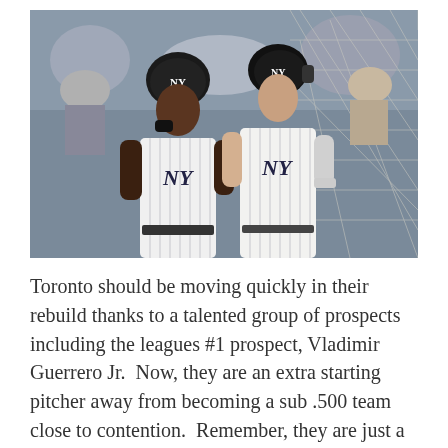[Figure (photo): Two New York Yankees baseball players in pinstripe uniforms and batting helmets standing together at what appears to be a baseball stadium. Spectators visible in the background behind a net.]
Toronto should be moving quickly in their rebuild thanks to a talented group of prospects including the leagues #1 prospect, Vladimir Guerrero Jr.  Now, they are an extra starting pitcher away from becoming a sub .500 team close to contention.  Remember, they are just a couple years removed from the start of a